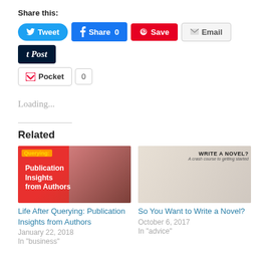Share this:
[Figure (other): Social share buttons: Tweet, Share 0, Save, Email, Post, Pocket with count 0]
Loading...
Related
[Figure (photo): Book/article thumbnail: Querying: Publication Insights from Authors - red background with glasses and laptop]
Life After Querying: Publication Insights from Authors
January 22, 2018
In "business"
[Figure (photo): Book/article thumbnail: Write a Novel? A crash course to getting started]
So You Want to Write a Novel?
October 6, 2017
In "advice"